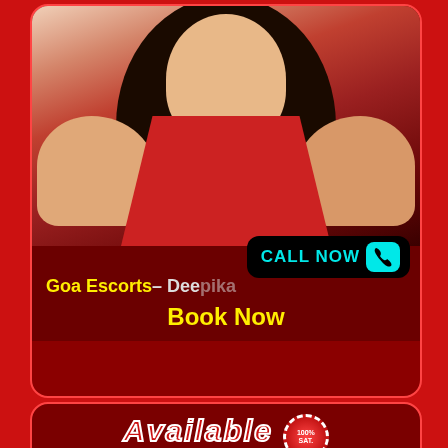[Figure (photo): Photo of a young woman in a red top with long dark hair]
CALL NOW
Goa Escorts– Deepika
Book Now
[Figure (infographic): Available banner with 100% satisfaction guarantee badge]
[Figure (photo): Partial photo of a person at the bottom]